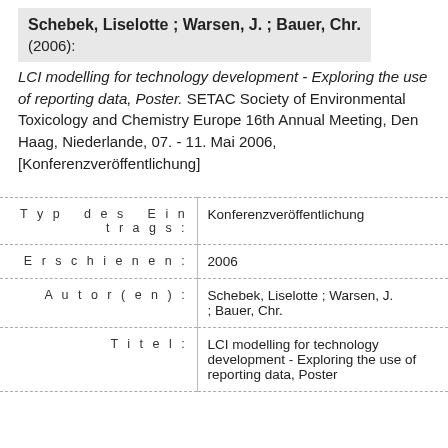Schebek, Liselotte ; Warsen, J. ; Bauer, Chr. (2006): LCI modelling for technology development - Exploring the use of reporting data, Poster. SETAC Society of Environmental Toxicology and Chemistry Europe 16th Annual Meeting, Den Haag, Niederlande, 07. - 11. Mai 2006, [Konferenzveröffentlichung]
|  |  |
| --- | --- |
| Typ des Eintrags: | Konferenzveröffentlichung |
| Erschienen: | 2006 |
| Autor(en): | Schebek, Liselotte ; Warsen, J. ; Bauer, Chr. |
| Titel: | LCI modelling for technology development - Exploring the use of reporting data, Poster |